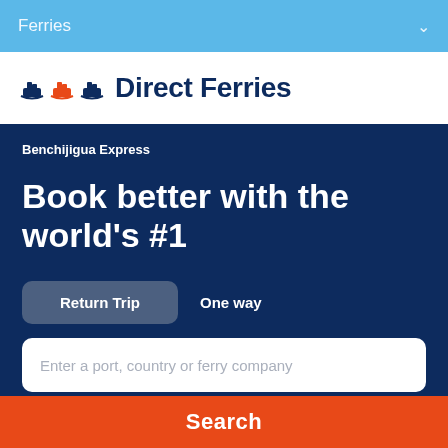Ferries
Direct Ferries
Benchijigua Express
Book better with the world's #1
Return Trip
One way
Enter a port, country or ferry company
Search